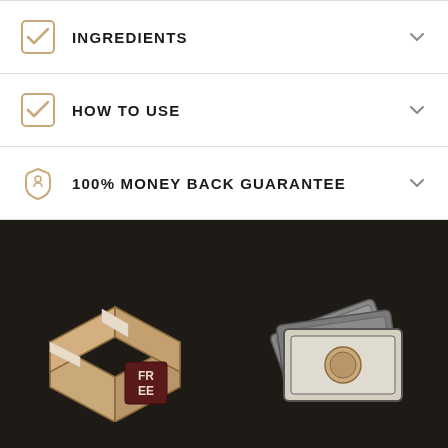INGREDIENTS
HOW TO USE
100% MONEY BACK GUARANTEE
[Figure (illustration): Dark background section with two illustrations: a cardboard box labeled FREE on the left, and a stack of money/bills on the right]